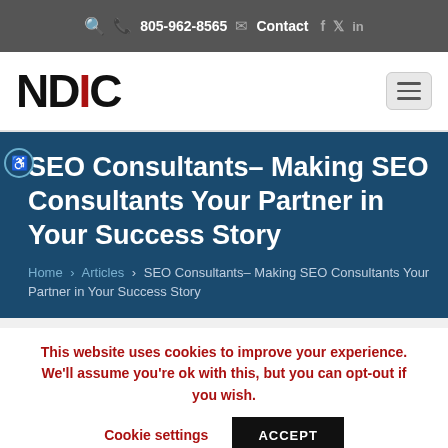805-962-8565   Contact
[Figure (logo): NDIC logo with red I letter]
SEO Consultants– Making SEO Consultants Your Partner in Your Success Story
Home > Articles > SEO Consultants– Making SEO Consultants Your Partner in Your Success Story
This website uses cookies to improve your experience. We'll assume you're ok with this, but you can opt-out if you wish.   Cookie settings   ACCEPT